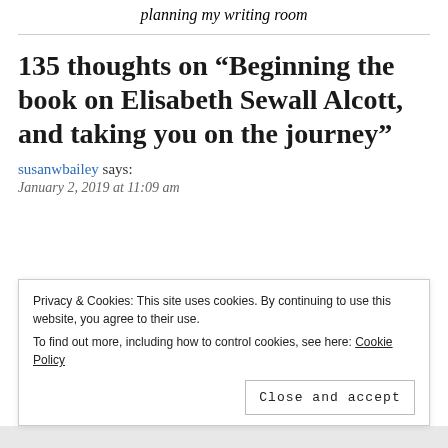planning my writing room
135 thoughts on “Beginning the book on Elisabeth Sewall Alcott, and taking you on the journey”
susanwbailey says:
January 2, 2019 at 11:09 am
Privacy & Cookies: This site uses cookies. By continuing to use this website, you agree to their use. To find out more, including how to control cookies, see here: Cookie Policy
Close and accept